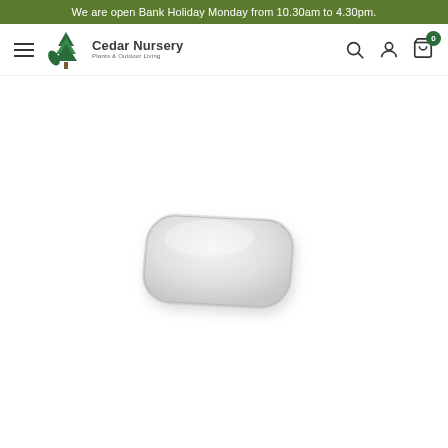We are open Bank Holiday Monday from 10.30am to 4.30pm.
[Figure (logo): Cedar Nursery logo with tree icon and tagline 'Plants & Outdoor Living']
[Figure (photo): A square cushion pad in light grey/white color, viewed from above at a slight angle, with gently rounded corners and a slight 3D form.]